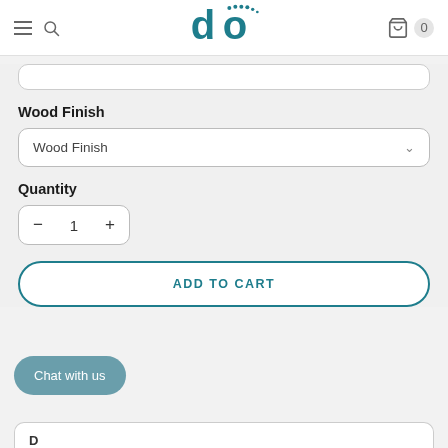do [logo] — navigation header with hamburger menu, search icon, cart icon with 0 items
Wood Finish
Wood Finish (dropdown selector)
Quantity
1 (quantity control with minus and plus buttons)
ADD TO CART
Chat with us
Description (partially visible at bottom)